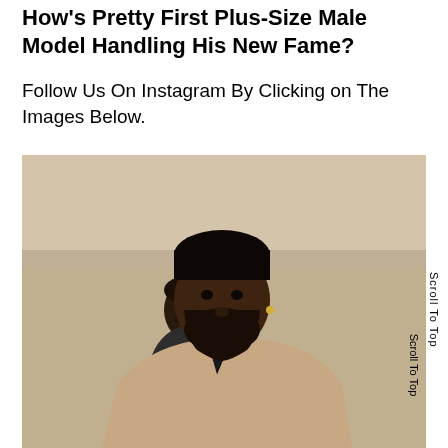How's Pretty First Plus-Size Male Model Handling His New Fame?
Follow Us On Instagram By Clicking on The Images Below.
[Figure (photo): Two Black men in beige/tan suits photographed from the waist up against a concrete wall background. The man in front is larger-built with a beard, wearing a tan blazer. A second man is partially visible behind him.]